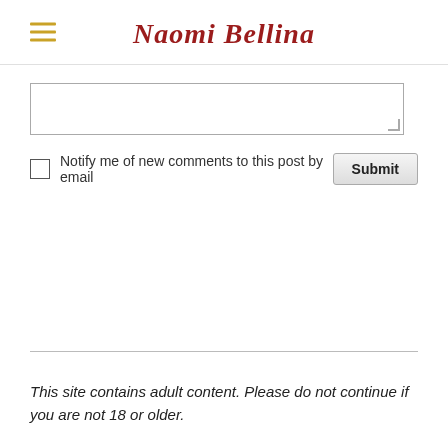Naomi Bellina
[Figure (other): Partially visible textarea input box with resize handle]
Notify me of new comments to this post by email
Submit
This site contains adult content. Please do not continue if you are not 18 or older.